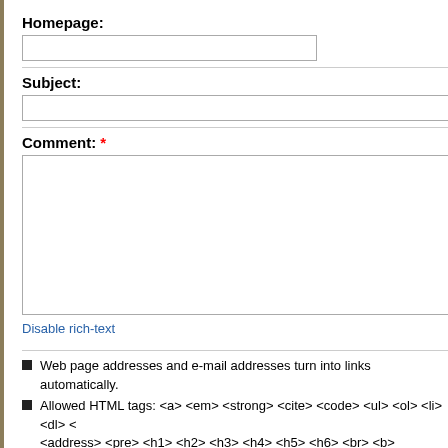Homepage:
Subject:
Comment: *
Disable rich-text
Web page addresses and e-mail addresses turn into links automatically.
Allowed HTML tags: <a> <em> <strong> <cite> <code> <ul> <ol> <li> <dl> <address> <pre> <h1> <h2> <h3> <h4> <h5> <h6> <br> <b>